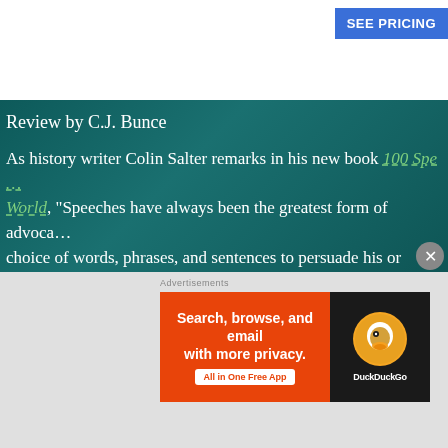SEE PRICING
REPORT T
Review by C.J. Bunce
As history writer Colin Salter remarks in his new book 100 Speeches That Changed the World, “Speeches have always been the greatest form of advocacy…choice of words, phrases, and sentences to persuade his or her…act as the poet’s or playwright’s.”  And the speech has a job to accomplish.  “They must convince the listener of something; p…devotion, an apology, a government’s decision, or an accused m…Speeches have a target audience, and if written and delivered w…world.  Salter has collected 100 speeches to defend the thesis i…change behavior, and that his selections fit the bill.

Any time a writer conquers a work that looks like a list, alon…
[Figure (screenshot): DuckDuckGo advertisement banner with orange left panel reading 'Search, browse, and email with more privacy. All in One Free App' and dark right panel with DuckDuckGo logo.]